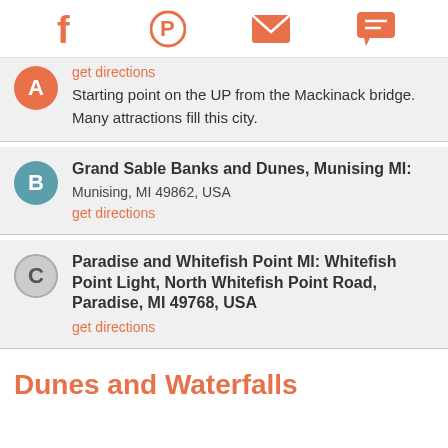Social share icons: Facebook, Pinterest, Email, Chat
A — get directions — Starting point on the UP from the Mackinack bridge. Many attractions fill this city.
B — Grand Sable Banks and Dunes, Munising MI: — Munising, MI 49862, USA — get directions
C — Paradise and Whitefish Point MI: Whitefish Point Light, North Whitefish Point Road, Paradise, MI 49768, USA — get directions
Dunes and Waterfalls